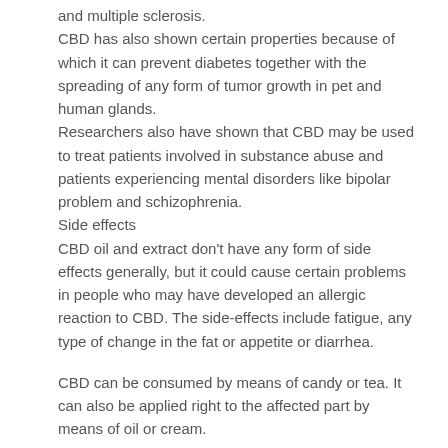and multiple sclerosis.
CBD has also shown certain properties because of which it can prevent diabetes together with the spreading of any form of tumor growth in pet and human glands.
Researchers also have shown that CBD may be used to treat patients involved in substance abuse and patients experiencing mental disorders like bipolar problem and schizophrenia.
Side effects
CBD oil and extract don't have any form of side effects generally, but it could cause certain problems in people who may have developed an allergic reaction to CBD. The side-effects include fatigue, any type of change in the fat or appetite or diarrhea.
CBD can be consumed by means of candy or tea. It can also be applied right to the affected part by means of oil or cream.
Conclusion
CBD is an amazing source of medication which you can use